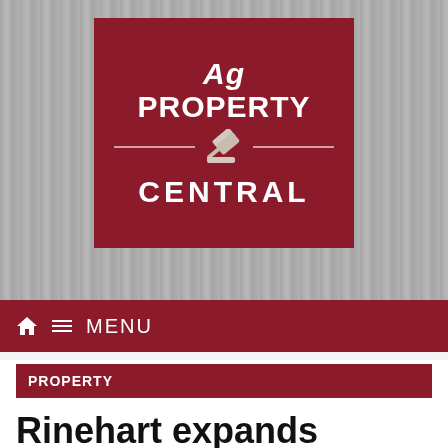[Figure (logo): Ag Property Central logo on a red sign board against corrugated metal background]
MENU
PROPERTY
Rinehart expands pastoral interests with big NSW Wagyu cattle investment